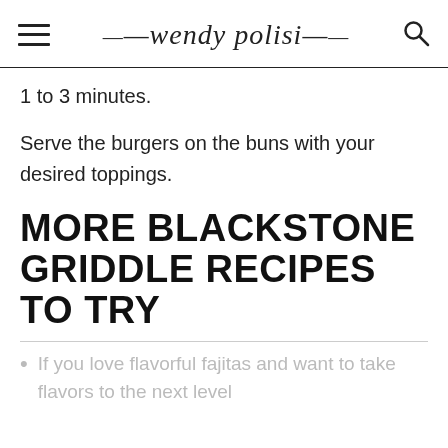wendy polisi
1 to 3 minutes.
Serve the burgers on the buns with your desired toppings.
MORE BLACKSTONE GRIDDLE RECIPES TO TRY
If you love flavorful fajitas and want to take flavors to the next level